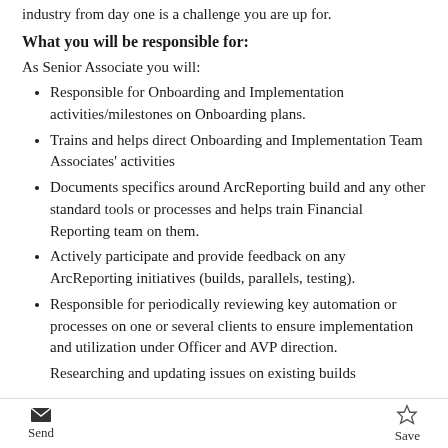industry from day one is a challenge you are up for.
What you will be responsible for:
As Senior Associate you will:
Responsible for Onboarding and Implementation activities/milestones on Onboarding plans.
Trains and helps direct Onboarding and Implementation Team Associates' activities
Documents specifics around ArcReporting build and any other standard tools or processes and helps train Financial Reporting team on them.
Actively participate and provide feedback on any ArcReporting initiatives (builds, parallels, testing).
Responsible for periodically reviewing key automation or processes on one or several clients to ensure implementation and utilization under Officer and AVP direction.
Researching and updating issues on existing builds
Send  Save